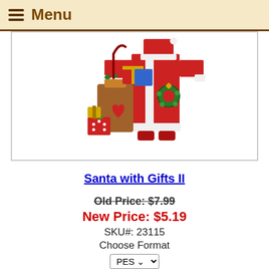Menu
[Figure (illustration): Cross-stitch style embroidery design of Santa Claus in red suit with white trim, holding gifts bag filled with presents including wrapped boxes and greenery, with a Christmas wreath on his coat.]
Santa with Gifts II
Old Price: $7.99
New Price: $5.19
SKU#: 23115
Choose Format
Add to Cart